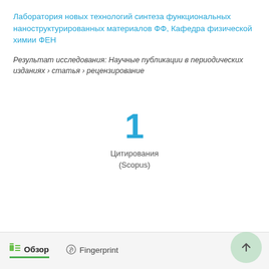Лаборатория новых технологий синтеза функциональных наноструктурированных материалов ФФ, Кафедра физической химии ФЕН
Результат исследования: Научные публикации в периодических изданиях › статья › рецензирование
1
Цитирования
(Scopus)
Обзор   Fingerprint